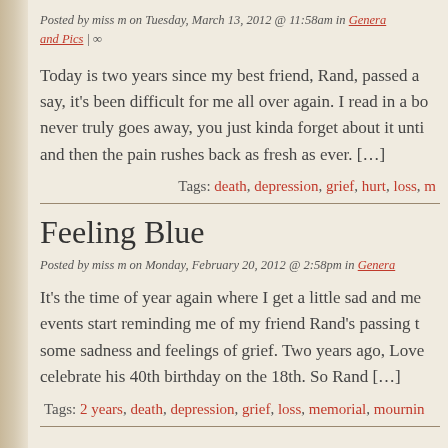Posted by miss m on Tuesday, March 13, 2012 @ 11:58am in Genera... and Pics | ∞
Today is two years since my best friend, Rand, passed a... say, it's been difficult for me all over again. I read in a bo... never truly goes away, you just kinda forget about it unti... and then the pain rushes back as fresh as ever. […]
Tags: death, depression, grief, hurt, loss, m...
Feeling Blue
Posted by miss m on Monday, February 20, 2012 @ 2:58pm in Genera...
It's the time of year again where I get a little sad and me... events start reminding me of my friend Rand's passing t... some sadness and feelings of grief. Two years ago, Love... celebrate his 40th birthday on the 18th. So Rand […]
Tags: 2 years, death, depression, grief, loss, memorial, mournin...